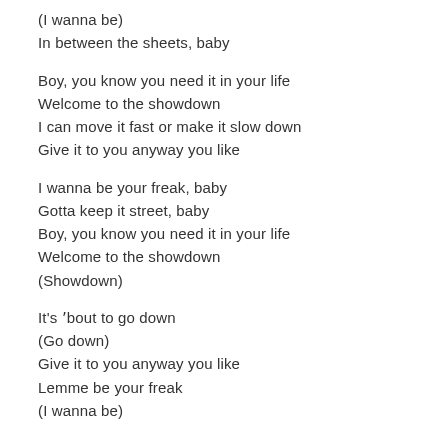(I wanna be)
In between the sheets, baby
Boy, you know you need it in your life
Welcome to the showdown
I can move it fast or make it slow down
Give it to you anyway you like
I wanna be your freak, baby
Gotta keep it street, baby
Boy, you know you need it in your life
Welcome to the showdown
(Showdown)
It's 'bout to go down
(Go down)
Give it to you anyway you like
Lemme be your freak
(I wanna be)